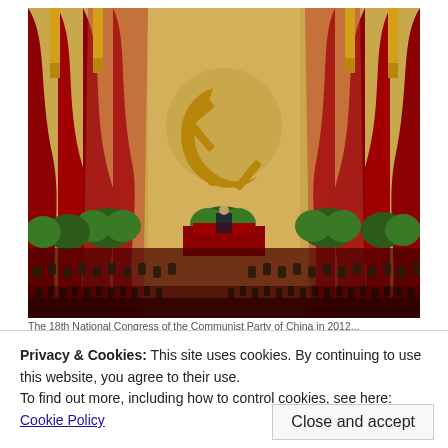[Figure (photo): A large hall decorated with red curtains and a golden hammer-and-sickle emblem of the Communist Party of China on the backdrop. Rows of delegates seated in the hall at what appears to be a National Congress of the Communist Party of China.]
The 18th National Congress of the Communist Party of China in 2012...
Privacy & Cookies: This site uses cookies. By continuing to use this website, you agree to their use.
To find out more, including how to control cookies, see here: Cookie Policy
Close and accept